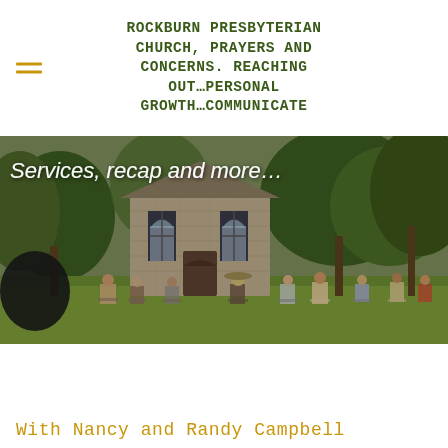ROCKBURN PRESBYTERIAN CHURCH, PRAYERS AND CONCERNS. REACHING OUT…PERSONAL GROWTH…COMMUNICATE
[Figure (photo): Outdoor church service at Rockburn Presbyterian Church. People seated in chairs on grass facing a historic stone church building with Gothic arched windows, surrounded by large trees. Text overlay reads 'Services, recap and more...' in white italic font.]
Services, recap and more…
With Nancy and Randy Campbell